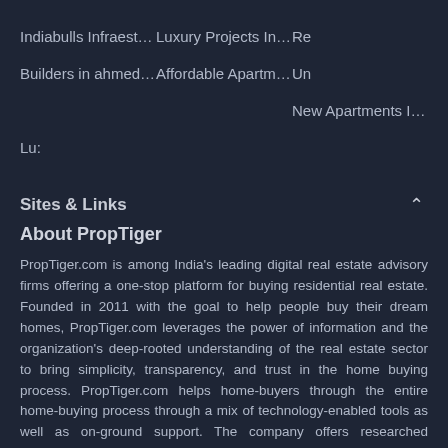Indiabulls Infraestate ahm...
Luxury Projects In ahmed...
Re
Builders in ahmedabad
Affordable Apartments In ...
Un
New Apartments In ahme...
Lu:
Sites & Links
About PropTiger
PropTiger.com is among India's leading digital real estate advisory firms offering a one-stop platform for buying residential real estate. Founded in 2011 with the goal to help people buy their dream homes, PropTiger.com leverages the power of information and the organization's deep-rooted understanding of the real estate sector to bring simplicity, transparency, and trust in the home buying process. PropTiger.com helps home-buyers through the entire home-buying process through a mix of technology-enabled tools as well as on-ground support. The company offers researched information about various localities and properties and provides guidance on matters pertaining to legal paperwork and loan assistance to successfully fulfill a transaction.